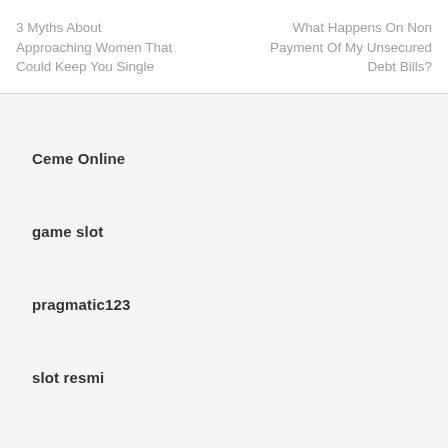3 Myths About Approaching Women That Could Keep You Single
What Happens On Non Payment Of My Unsecured Debt Bills?
Ceme Online
game slot
pragmatic123
slot resmi